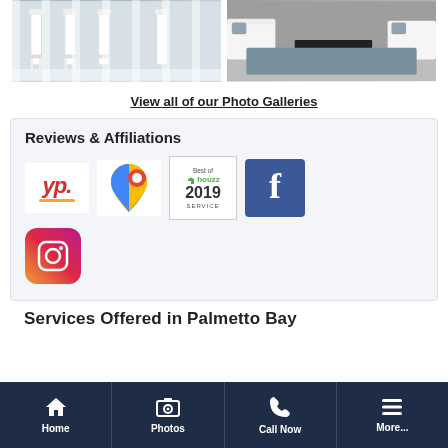[Figure (photo): Two photos side by side: left shows white bar stools, right shows a modern living room with white sofa and dark coffee table]
View all of our Photo Galleries
Reviews & Affiliations
[Figure (logo): YP (Yellow Pages) logo]
[Figure (logo): Google Maps logo]
[Figure (logo): Best of Houzz 2019 Service badge]
[Figure (logo): Facebook logo]
[Figure (logo): Instagram logo]
Services Offered in Palmetto Bay
Home | Photos | Call Now | More...